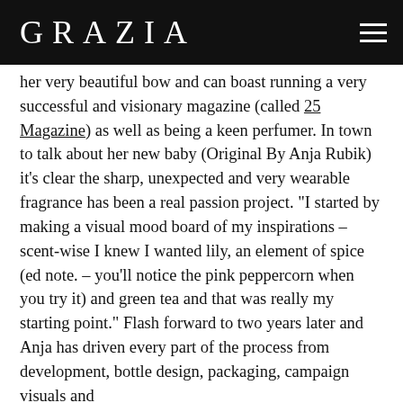GRAZIA
her very beautiful bow and can boast running a very successful and visionary magazine (called 25 Magazine) as well as being a keen perfumer. In town to talk about her new baby (Original By Anja Rubik) it's clear the sharp, unexpected and very wearable fragrance has been a real passion project. "I started by making a visual mood board of my inspirations – scent-wise I knew I wanted lily, an element of spice (ed note. – you'll notice the pink peppercorn when you try it) and green tea and that was really my starting point." Flash forward to two years later and Anja has driven every part of the process from development, bottle design, packaging, campaign visuals and